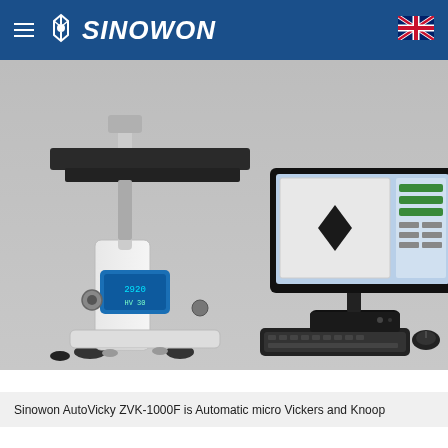SINOWON
[Figure (photo): Sinowon AutoVicky ZVK-1000F automatic micro Vickers and Knoop hardness tester machine (left, white body with blue touchscreen display and XY stage) alongside a computer monitor displaying measurement software with a diamond indentation image, keyboard and mouse on a black base unit.]
Chat Online
Sinowon AutoVicky ZVK-1000F is Automatic micro Vickers and Knoop